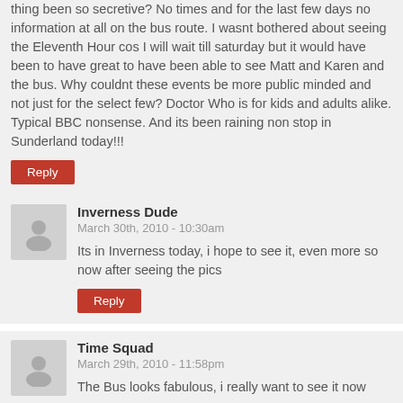thing been so secretive? No times and for the last few days no information at all on the bus route. I wasnt bothered about seeing the Eleventh Hour cos I will wait till saturday but it would have been to have great to have been able to see Matt and Karen and the bus. Why couldnt these events be more public minded and not just for the select few? Doctor Who is for kids and adults alike. Typical BBC nonsense. And its been raining non stop in Sunderland today!!!
Reply
Inverness Dude
March 30th, 2010 - 10:30am
Its in Inverness today, i hope to see it, even more so now after seeing the pics
Reply
Time Squad
March 29th, 2010 - 11:58pm
The Bus looks fabulous, i really want to see it now